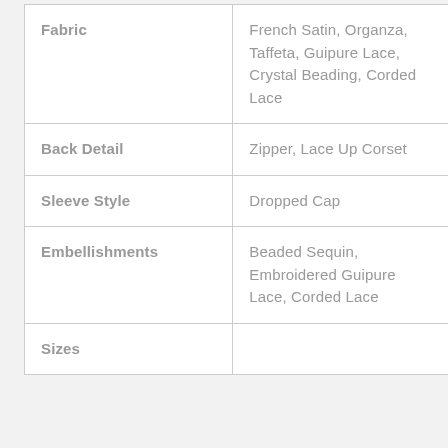|  |  |
| --- | --- |
| Fabric | French Satin, Organza, Taffeta, Guipure Lace, Crystal Beading, Corded Lace |
| Back Detail | Zipper, Lace Up Corset |
| Sleeve Style | Dropped Cap |
| Embellishments | Beaded Sequin, Embroidered Guipure Lace, Corded Lace |
| Sizes |  |